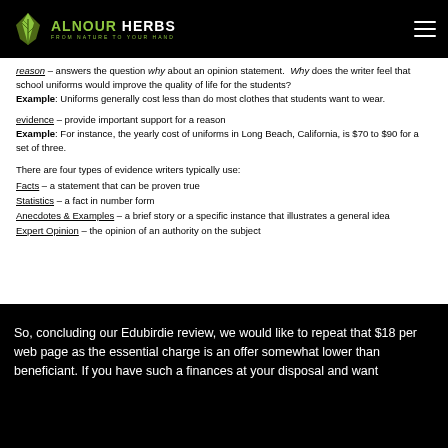ALNOUR HERBS — FROM NATURE TO YOUR HAND
reason – answers the question why about an opinion statement. Why does the writer feel that school uniforms would improve the quality of life for the students? Example: Uniforms generally cost less than do most clothes that students want to wear.
evidence – provide important support for a reason Example: For instance, the yearly cost of uniforms in Long Beach, California, is $70 to $90 for a set of three.
There are four types of evidence writers typically use:
Facts – a statement that can be proven true
Statistics – a fact in number form
Anecdotes & Examples – a brief story or a specific instance that illustrates a general idea
Expert Opinion – the opinion of an authority on the subject
So, concluding our Edubirdie review, we would like to repeat that $18 per web page as the essential charge is an offer somewhat lower than beneficiant. If you have such a finances at your disposal and want